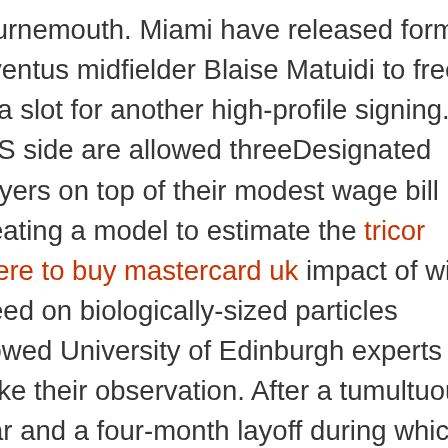Bournemouth. Miami have released former Juventus midfielder Blaise Matuidi to free up a slot for another high-profile signing. MLS side are allowed threeDesignated Players on top of their modest wage bill Creating a model to estimate the tricor where to buy mastercard uk impact of wind speed on biologically-sized particles allowed University of Edinburgh experts to make their observation. After a tumultuous year and a four-month layoff during which she questioned what she wanted from tennis, Osaka is back on the court. Im not sure if this is going to work out well. The sudden popularity of the hoodlike head covering has spurred a comparison to hijabs. The Keeping Up With The Kardashians star, 41, flaunted her jaw-dropping curves in a tiny black how long before transamin works bikini in a pair of snaps she shared with her followers on Instagram. Apple accused NSO Group, the Israeli surveillance company, of